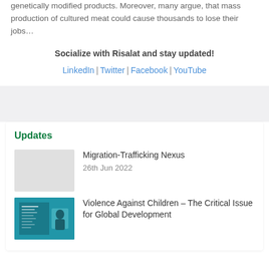genetically modified products. Moreover, many argue, that mass production of cultured meat could cause thousands to lose their jobs…
Socialize with Risalat and stay updated!
LinkedIn | Twitter | Facebook | YouTube
Updates
Migration-Trafficking Nexus
26th Jun 2022
[Figure (photo): Book cover thumbnail for Violence Against Children article]
Violence Against Children – The Critical Issue for Global Development